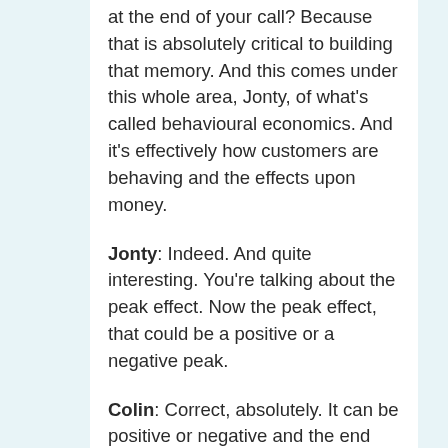at the end of your call? Because that is absolutely critical to building that memory. And this comes under this whole area, Jonty, of what's called behavioural economics. And it's effectively how customers are behaving and the effects upon money.
Jonty: Indeed. And quite interesting. You're talking about the peak effect. Now the peak effect, that could be a positive or a negative peak.
Colin: Correct, absolutely. It can be positive or negative and the end can be positive or negative as well. And therefore when people have an